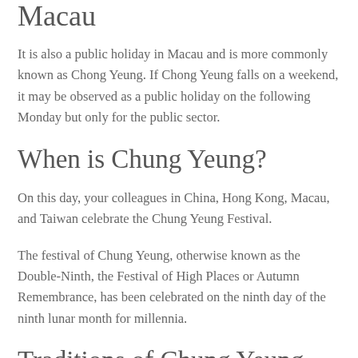Macau
It is also a public holiday in Macau and is more commonly known as Chong Yeung. If Chong Yeung falls on a weekend, it may be observed as a public holiday on the following Monday but only for the public sector.
When is Chung Yeung?
On this day, your colleagues in China, Hong Kong, Macau, and Taiwan celebrate the Chung Yeung Festival.
The festival of Chung Yeung, otherwise known as the Double-Ninth, the Festival of High Places or Autumn Remembrance, has been celebrated on the ninth day of the ninth lunar month for millennia.
Traditions of Chung Yeung